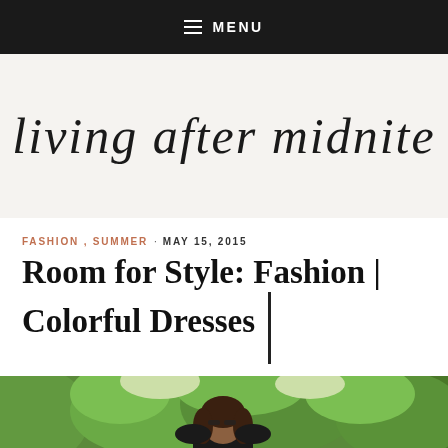MENU
living after midnite
FASHION , SUMMER · MAY 15, 2015
Room for Style: Fashion | Colorful Dresses
[Figure (photo): Outdoor photo of a person standing in front of green trees, visible from waist/shoulder up, photographed outdoors on a sunny day.]